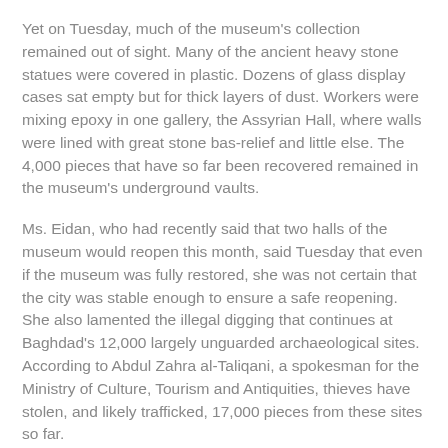Yet on Tuesday, much of the museum's collection remained out of sight. Many of the ancient heavy stone statues were covered in plastic. Dozens of glass display cases sat empty but for thick layers of dust. Workers were mixing epoxy in one gallery, the Assyrian Hall, where walls were lined with great stone bas-relief and little else. The 4,000 pieces that have so far been recovered remained in the museum's underground vaults.
Ms. Eidan, who had recently said that two halls of the museum would reopen this month, said Tuesday that even if the museum was fully restored, she was not certain that the city was stable enough to ensure a safe reopening. She also lamented the illegal digging that continues at Baghdad's 12,000 largely unguarded archaeological sites. According to Abdul Zahra al-Taliqani, a spokesman for the Ministry of Culture, Tourism and Antiquities, thieves have stolen, and likely trafficked, 17,000 pieces from these sites so far.